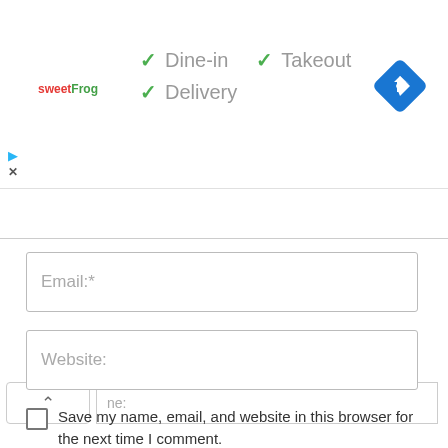[Figure (screenshot): sweetFrog logo with colorful letters]
✓ Dine-in  ✓ Takeout
✓ Delivery
[Figure (other): Blue diamond navigation/directions icon]
[Figure (other): Ad play and close icons]
ne:
Email:*
Website:
Save my name, email, and website in this browser for the next time I comment.
POST COMMENT
Search